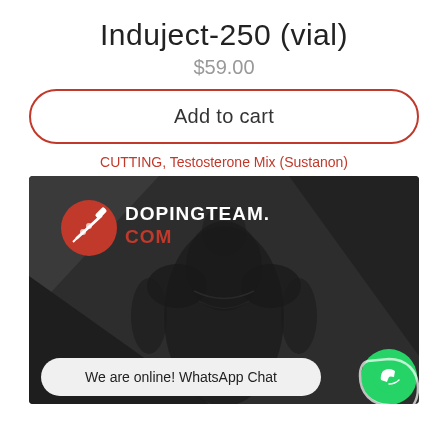Induject-250 (vial)
$59.00
Add to cart
CUTTING, Testosterone Mix (Sustanon)
[Figure (photo): Product promotional image for DOPINGTEAM.COM showing a muscular figure in grayscale with the website logo and a WhatsApp chat button overlay reading 'We are online! WhatsApp Chat']